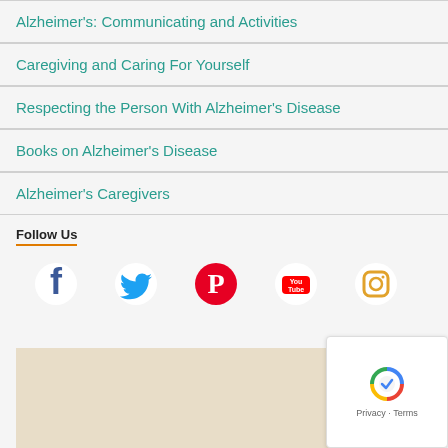Alzheimer's: Communicating and Activities
Caregiving and Caring For Yourself
Respecting the Person With Alzheimer's Disease
Books on Alzheimer's Disease
Alzheimer's Caregivers
Follow Us
[Figure (illustration): Social media icons: Facebook, Twitter, Pinterest, YouTube, Instagram]
[Figure (other): Map area placeholder with reCAPTCHA badge showing Privacy and Terms]